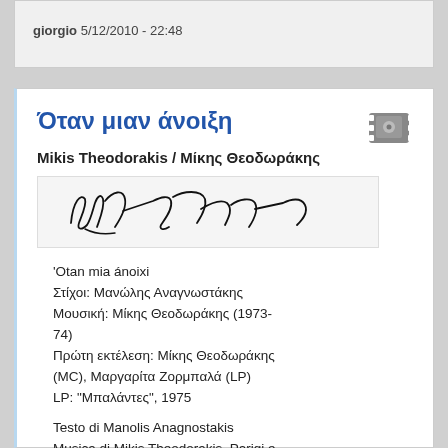giorgio 5/12/2010 - 22:48
Όταν μιαν άνοιξη
Mikis Theodorakis / Μίκης Θεοδωράκης
[Figure (illustration): Handwritten signature of Mikis Theodorakis in black ink on light gray background]
'Otan mia ánoixi
Στίχοι: Μανώλης Αναγνωστάκης
Μουσική: Μίκης Θεοδωράκης (1973-74)
Πρώτη εκτέλεση: Μίκης Θεοδωράκης (MC), Μαργαρίτα Ζορμπαλά (LP)
LP: "Μπαλάντες", 1975
Testo di Manolis Anagnostakis
Musica di Mikis Theodorakis. Parigi e Palermo, il 1973-74